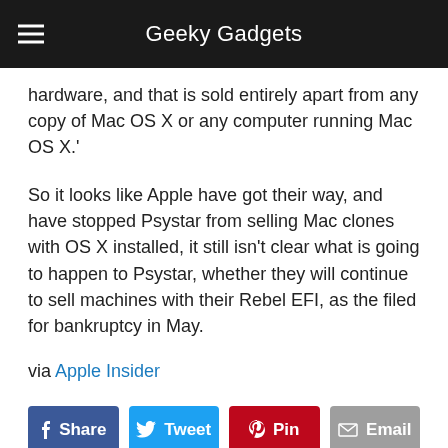Geeky Gadgets
hardware, and that is sold entirely apart from any copy of Mac OS X or any computer running Mac OS X.'
So it looks like Apple have got their way, and have stopped Psystar from selling Mac clones with OS X installed, it still isn't clear what is going to happen to Psystar, whether they will continue to sell machines with their Rebel EFI, as the filed for bankruptcy in May.
via Apple Insider
[Figure (infographic): Social share buttons: Facebook Share, Twitter Tweet, Pinterest Pin, Email]